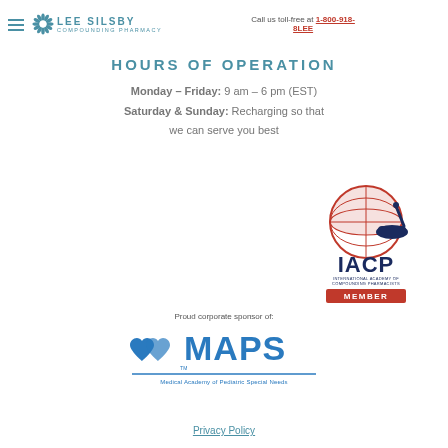Call us toll-free at 1-800-918-8LEE — LEE SILSBY COMPOUNDING PHARMACY
HOURS OF OPERATION
Monday – Friday: 9 am – 6 pm (EST)
Saturday & Sunday: Recharging so that we can serve you best
[Figure (logo): IACP International Academy of Compounding Pharmacists Member logo with globe and mortar and pestle]
Proud corporate sponsor of:
[Figure (logo): MAPS Medical Academy of Pediatric Special Needs logo]
Privacy Policy